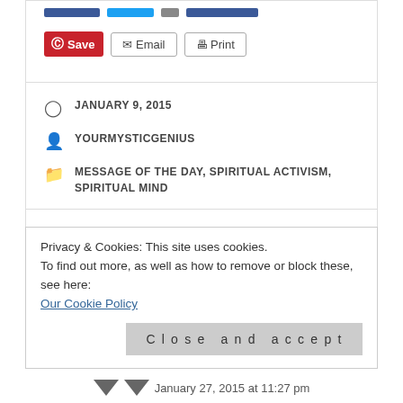[Figure (screenshot): Social share buttons row with Save (Pinterest), Email, and Print buttons]
JANUARY 9, 2015
YOURMYSTICGENIUS
MESSAGE OF THE DAY, SPIRITUAL ACTIVISM, SPIRITUAL MIND
1 thought on “MOTD 1/9/15: Your Leap of Faith Is Different”
Privacy & Cookies: This site uses cookies.
To find out more, as well as how to remove or block these, see here:
Our Cookie Policy
Close and accept
January 27, 2015 at 11:27 pm